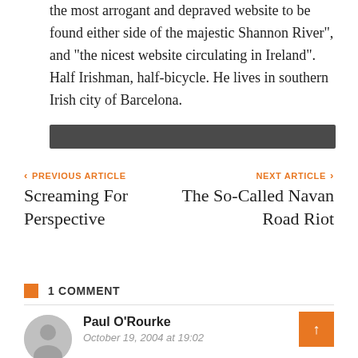the most arrogant and depraved website to be found either side of the majestic Shannon River", and "the nicest website circulating in Ireland". Half Irishman, half-bicycle. He lives in southern Irish city of Barcelona.
[Figure (other): Dark gray horizontal bar separator]
< PREVIOUS ARTICLE
Screaming For Perspective
NEXT ARTICLE >
The So-Called Navan Road Riot
1 COMMENT
Paul O'Rourke
October 19, 2004 at 19:02